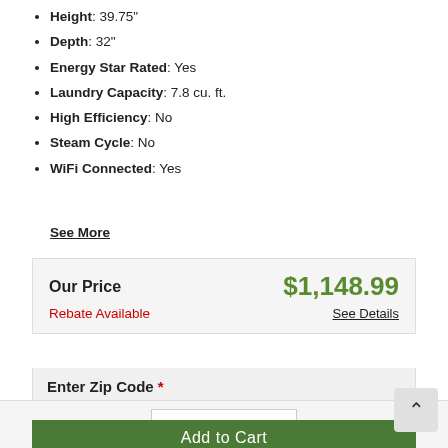Height: 39.75"
Depth: 32"
Energy Star Rated: Yes
Laundry Capacity: 7.8 cu. ft.
High Efficiency: No
Steam Cycle: No
WiFi Connected: Yes
See More
| Our Price | $1,148.99 |
| Rebate Available | See Details |
Enter Zip Code * For delivery options and item availability.
1
Add to Cart